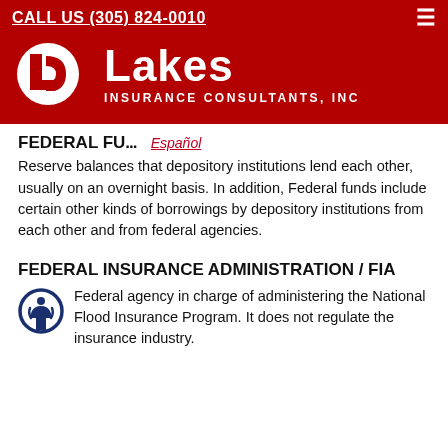CALL US (305) 824-0010
[Figure (logo): Lakes Insurance Consultants, Inc logo — white circle with L shape on red background, beside text 'Lakes' and 'INSURANCE CONSULTANTS, INC']
FEDERAL FU...
Español
Reserve balances that depository institutions lend each other, usually on an overnight basis. In addition, Federal funds include certain other kinds of borrowings by depository institutions from each other and from federal agencies.
FEDERAL INSURANCE ADMINISTRATION / FIA
[Figure (illustration): Accessibility icon — person in circle, dark blue outline]
Federal agency in charge of administering the National Flood Insurance Program. It does not regulate the insurance industry.